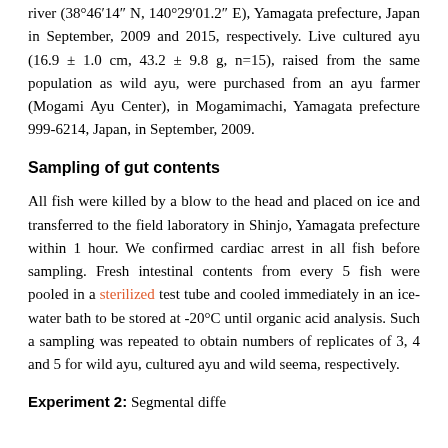river (38°46′14″ N, 140°29′01.2″ E), Yamagata prefecture, Japan in September, 2009 and 2015, respectively. Live cultured ayu (16.9 ± 1.0 cm, 43.2 ± 9.8 g, n=15), raised from the same population as wild ayu, were purchased from an ayu farmer (Mogami Ayu Center), in Mogamimachi, Yamagata prefecture 999-6214, Japan, in September, 2009.
Sampling of gut contents
All fish were killed by a blow to the head and placed on ice and transferred to the field laboratory in Shinjo, Yamagata prefecture within 1 hour. We confirmed cardiac arrest in all fish before sampling. Fresh intestinal contents from every 5 fish were pooled in a sterilized test tube and cooled immediately in an ice-water bath to be stored at -20°C until organic acid analysis. Such a sampling was repeated to obtain numbers of replicates of 3, 4 and 5 for wild ayu, cultured ayu and wild seema, respectively.
Experiment 2: Segmental diffe...